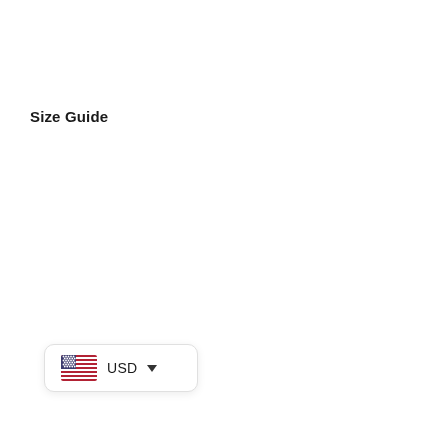Size Guide
[Figure (infographic): Currency selector widget showing a US flag icon followed by 'USD' text and a dropdown arrow, inside a rounded rectangle with shadow]